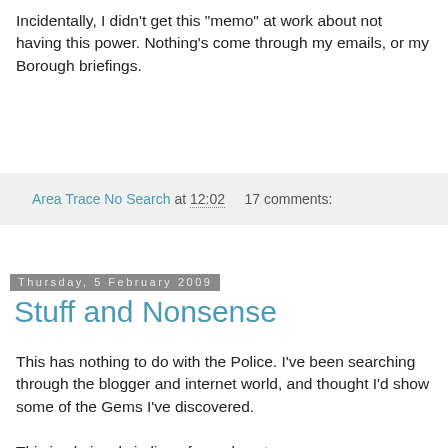Incidentally, I didn't get this "memo" at work about not having this power. Nothing's come through my emails, or my Borough briefings.
Area Trace No Search at 12:02   17 comments:
Thursday, 5 February 2009
Stuff and Nonsense
This has nothing to do with the Police. I've been searching through the blogger and internet world, and thought I'd show some of the Gems I've discovered.
This is obviously in lieu of a real post.
Bus Slogan Generator - a perfect response to the atheist campaigns on buses.
Natural Harvest - I'm not often lost for words.